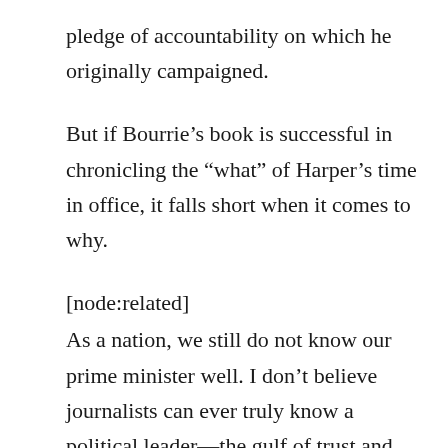pledge of accountability on which he originally campaigned.
But if Bourrie’s book is successful in chronicling the “what” of Harper’s time in office, it falls short when it comes to why.
[node:related]
As a nation, we still do not know our prime minister well. I don’t believe journalists can ever truly know a political leader—the gulf of trust and access is just too wide. But in Bourrie’s accounting, the dramatic reimagining of the Canadian identity is the result of one bad man’s deranged personality—that Harper does these things because he is vindictive, spiteful and hellbent on